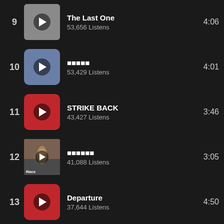9 | The Last One | 53,656 Listens | 4:06
10 | [non-latin title] | 53,429 Listens | 4:01
11 | STRIKE BACK | 43,427 Listens | 3:46
12 | [non-latin title] | 41,088 Listens | 3:05
13 | Departure | 37,644 Listens | 4:50
14 | Silent Trigger | 35,522 Listens | 3:29